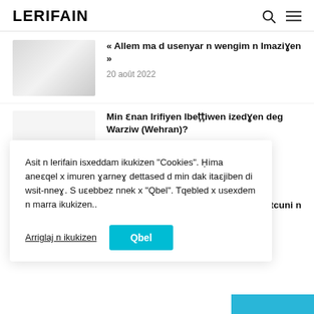LERIFAIN
« Allem ma d usenyar n wengim n Imaziɣen »
20 août 2022
[Figure (photo): Thumbnail image, light gray placeholder]
Min ɛnan Irifiyen Ibeṭṭiwen izedɣen deg Warziw (Wehran)?
18 août 2022
Asit n lerifain isxeddam ikukizen "Cookies". Ḥima aneɛqel x imuren ɣarneɣ dettased d min dak itaɛjiben di wsit-nneɣ. S uɛebbez nnek x "Qbel". Tqebled x usexdem n marra ikukizen..
Arriglaj n ikukizen
Qbel
d-yejjin tcuni n